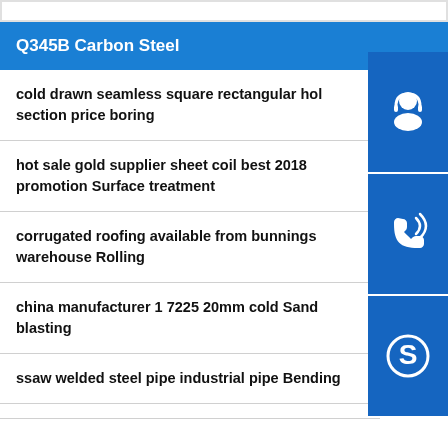Q345B Carbon Steel
cold drawn seamless square rectangular hollow section price boring
hot sale gold supplier sheet coil best 2018 promotion Surface treatment
corrugated roofing available from bunnings warehouse Rolling
china manufacturer 1 7225 20mm cold Sand blasting
ssaw welded steel pipe industrial pipe Bending